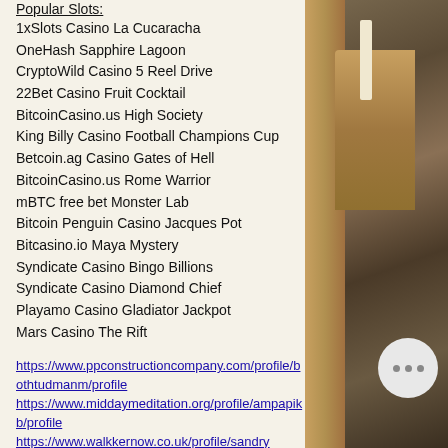Popular Slots:
1xSlots Casino La Cucaracha
OneHash Sapphire Lagoon
CryptoWild Casino 5 Reel Drive
22Bet Casino Fruit Cocktail
BitcoinCasino.us High Society
King Billy Casino Football Champions Cup
Betcoin.ag Casino Gates of Hell
BitcoinCasino.us Rome Warrior
mBTC free bet Monster Lab
Bitcoin Penguin Casino Jacques Pot
Bitcasino.io Maya Mystery
Syndicate Casino Bingo Billions
Syndicate Casino Diamond Chief
Playamo Casino Gladiator Jackpot
Mars Casino The Rift
https://www.ppconstructioncompany.com/profile/bothtudmanm/profile
https://www.middaymeditation.org/profile/ampapikb/profile
https://www.walkkernow.co.uk/profile/sandry